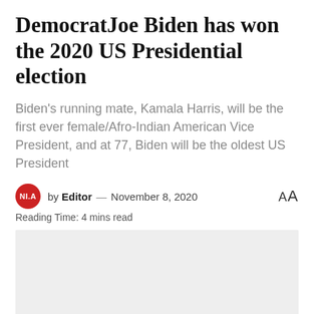DemocratJoe Biden has won the 2020 US Presidential election
Biden's running mate, Kamala Harris, will be the first ever female/Afro-Indian American Vice President, and at 77, Biden will be the oldest US President
by Editor — November 8, 2020
Reading Time: 4 mins read
[Figure (other): Gray placeholder image block]